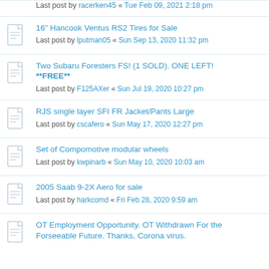Last post by racerken45 « Tue Feb 09, 2021 2:18 pm
16" Hancook Ventus RS2 Tires for Sale
Last post by lputman05 « Sun Sep 13, 2020 11:32 pm
Two Subaru Foresters FS! (1 SOLD). ONE LEFT! **FREE**
Last post by F125AXer « Sun Jul 19, 2020 10:27 pm
RJS single layer SFI FR Jacket/Pants Large
Last post by cscafero « Sun May 17, 2020 12:27 pm
Set of Compomotive modular wheels
Last post by kwpinarb « Sun May 10, 2020 10:03 am
2005 Saab 9-2X Aero for sale
Last post by harkcomd « Fri Feb 28, 2020 9:59 am
OT Employment Opportunity. OT Withdrawn For the Forseeable Future. Thanks, Corona virus.